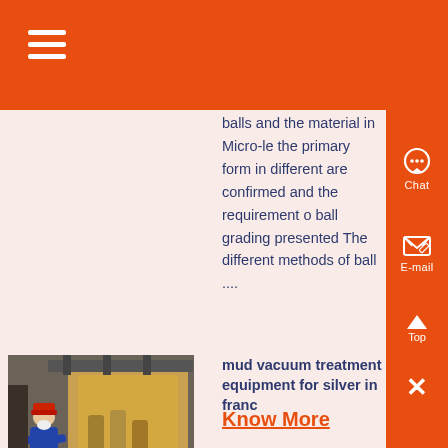balls and the material in Micro-le the primary form in different are confirmed and the requirement of ball grading presented The different methods of ball ....
[Figure (photo): Industrial worker in blue coveralls and red hard hat sitting in front of heavy mining machinery]
mud vacuum treatment equipment for silver in france
Know More
rock crusher for small scale gold mining in south africa Click to que malaysia concrete crushers for n , small ball mill and ball mill price Click to query contained portable jaw crusher gold ore por le